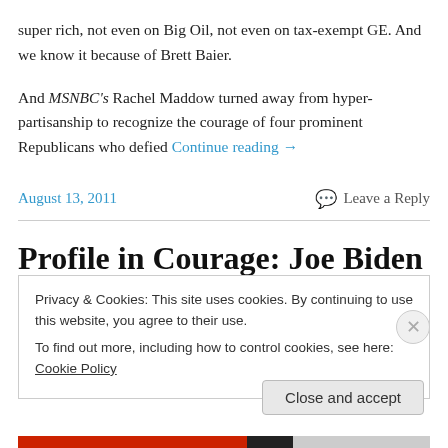super rich, not even on Big Oil, not even on tax-exempt GE. And we know it because of Brett Baier.
And MSNBC's Rachel Maddow turned away from hyper-partisanship to recognize the courage of four prominent Republicans who defied Continue reading →
August 13, 2011
Leave a Reply
Profile in Courage: Joe Biden
Privacy & Cookies: This site uses cookies. By continuing to use this website, you agree to their use.
To find out more, including how to control cookies, see here: Cookie Policy
Close and accept